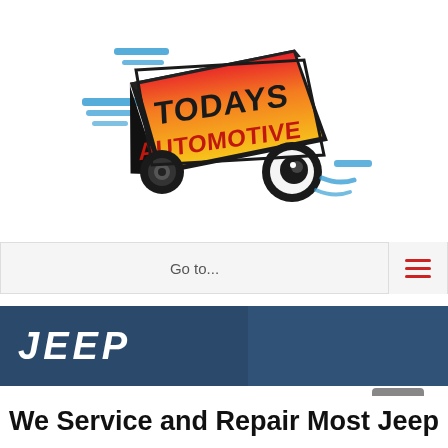[Figure (logo): Todays Automotive logo — bold illustrated text 'TODAYS AUTOMOTIVE' in red-orange-yellow gradient with black outline, set on a tilted 3D block with cartoon wheels and blue speed lines on a white background.]
Go to...
JEEP
We Service and Repair Most Jeep